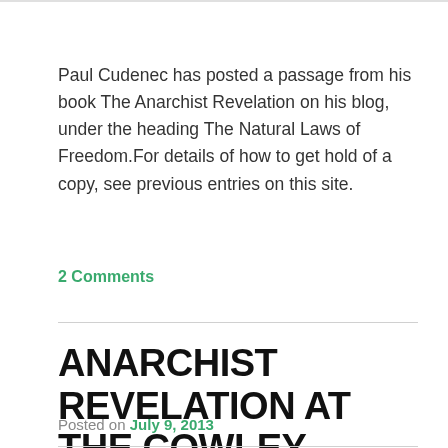Paul Cudenec has posted a passage from his book The Anarchist Revelation on his blog, under the heading The Natural Laws of Freedom.For details of how to get hold of a copy, see previous entries on this site.
2 Comments
ANARCHIST REVELATION AT THE COWLEY CLUB
Posted on July 9, 2013